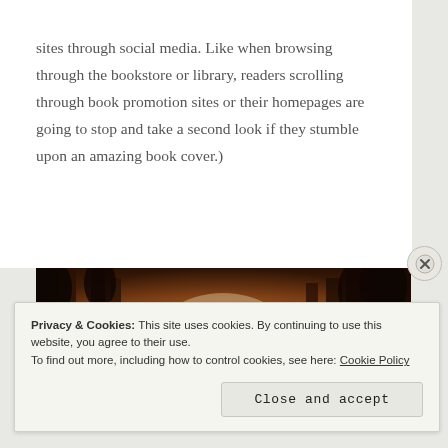sites through social media. Like when browsing through the bookstore or library, readers scrolling through book promotion sites or their homepages are going to stop and take a second look if they stumble upon an amazing book cover.)
[Figure (photo): A forest scene with tall trees silhouetted against bright golden backlighting, creating a warm amber and golden glow effect.]
Privacy & Cookies: This site uses cookies. By continuing to use this website, you agree to their use.
To find out more, including how to control cookies, see here: Cookie Policy

Close and accept